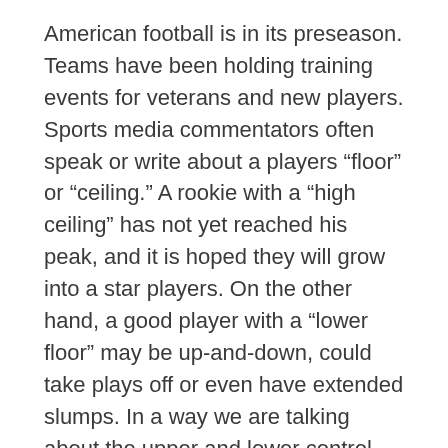American football is in its preseason. Teams have been holding training events for veterans and new players. Sports media commentators often speak or write about a players “floor” or “ceiling.” A rookie with a “high ceiling” has not yet reached his peak, and it is hoped they will grow into a star players. On the other hand, a good player with a “lower floor” may be up-and-down, could take plays off or even have extended slumps. In a way we are talking about the upper and lower control limits of a football player’s performance. This floor and ceiling metaphor is interesting in terms of how we view Lean.
A common, though not entirely appropriate question, is “What’s next after Lean?” People